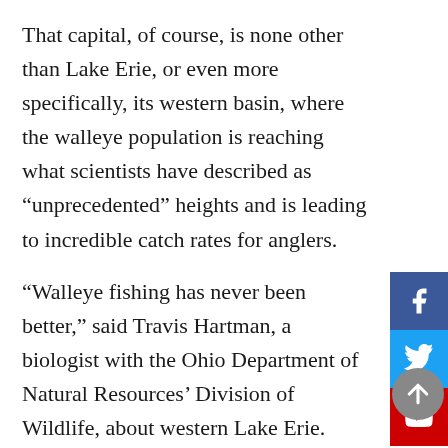That capital, of course, is none other than Lake Erie, or even more specifically, its western basin, where the walleye population is reaching what scientists have described as “unprecedented” heights and is leading to incredible catch rates for anglers.
“Walleye fishing has never been better,” said Travis Hartman, a biologist with the Ohio Department of Natural Resources’ Division of Wildlife, about western Lake Erie.
Hartman serves as the Lake Erie fisheries program administrator, which monitors fish populations, along with production and harvest rates, aiming to establish appropriate and sustainable daily catch limits for sport fish, such as walleye, in partnership